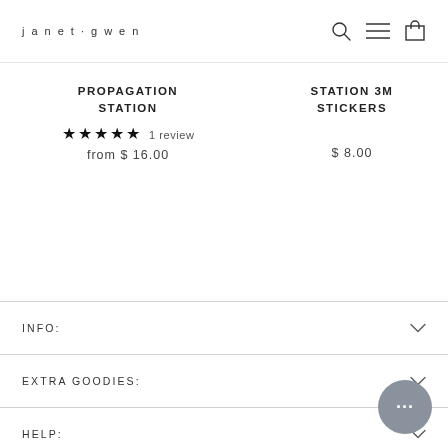janet-gwen
PROPAGATION STATION
★★★★★ 1 review
from $ 16.00
STATION 3M STICKERS
$ 8.00
★★★★½ from $
INFO:
EXTRA GOODIES:
HELP:
LET'S BE FRIENDS!